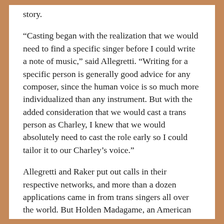story.
“Casting began with the realization that we would need to find a specific singer before I could write a note of music,” said Allegretti. “Writing for a specific person is generally good advice for any composer, since the human voice is so much more individualized than any instrument. But with the added consideration that we would cast a trans person as Charley, I knew that we would absolutely need to cast the role early so I could tailor it to our Charley’s voice.”
Allegretti and Raker put out calls in their respective networks, and more than a dozen applications came in from trans singers all over the world. But Holden Madagame, an American tenor based in Berlin, stood out above all the candidates. Madagame has worked